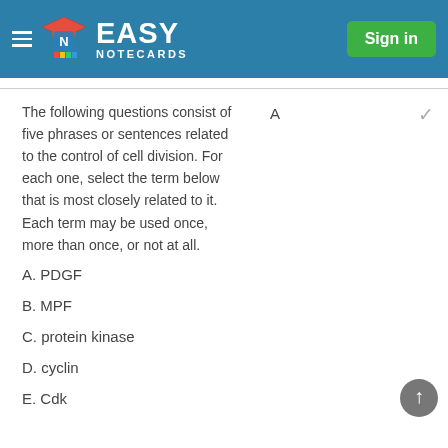Easy Notecards — Sign in
The following questions consist of five phrases or sentences related to the control of cell division. For each one, select the term below that is most closely related to it. Each term may be used once, more than once, or not at all.
A
A. PDGF
B. MPF
C. protein kinase
D. cyclin
E. Cdk